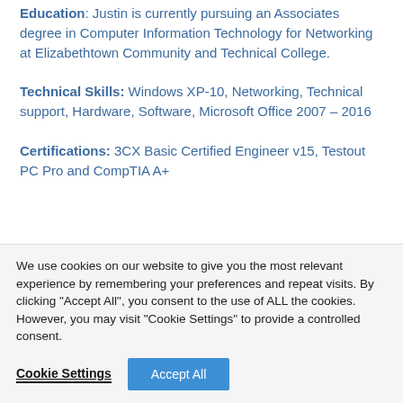Education: Justin is currently pursuing an Associates degree in Computer Information Technology for Networking at Elizabethtown Community and Technical College.
Technical Skills: Windows XP-10, Networking, Technical support, Hardware, Software, Microsoft Office 2007 – 2016
Certifications: 3CX Basic Certified Engineer v15, Testout PC Pro and CompTIA A+
We use cookies on our website to give you the most relevant experience by remembering your preferences and repeat visits. By clicking "Accept All", you consent to the use of ALL the cookies. However, you may visit "Cookie Settings" to provide a controlled consent.